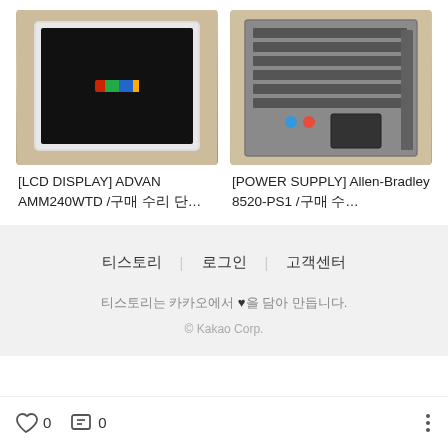[Figure (photo): LCD display unit - ADVAN AMM240WTD, white framed monitor with black screen, placed on a beige surface]
[Figure (photo): Power supply unit - Allen-Bradley 8520-PS1, circuit board/rack assembly with multiple slots and components, placed on a beige surface]
[LCD DISPLAY] ADVAN AMM240WTD /구매 수리 단…
[POWER SUPPLY] Allen-Bradley 8520-PS1 /구매 수…
티스토리 | 로그인 | 고객센터
티스토리는 카카오에서 ♥을 담아 만듭니다.
© Kakao Corp.
0
0